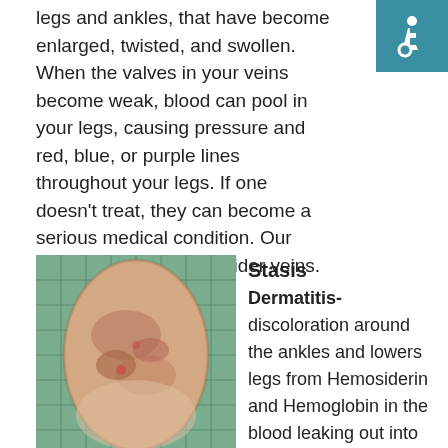legs and ankles, that have become enlarged, twisted, and swollen. When the valves in your veins become weak, blood can pool in your legs, causing pressure and red, blue, or purple lines throughout your legs. If one doesn't treat, they can become a serious medical condition. Our lasers can treat your spider veins.
[Figure (photo): Close-up photo of a lower leg showing skin discoloration, redness, and texture changes consistent with stasis dermatitis, photographed against a tiled floor background.]
Stasis Dermatitis- discoloration around the ankles and lowers legs from Hemosiderin and Hemoglobin in the blood leaking out into the local leg tissues and creating iron stains that eventually
[Figure (logo): Accessibility icon (ISA wheelchair symbol) on teal/blue-green background in top right corner.]